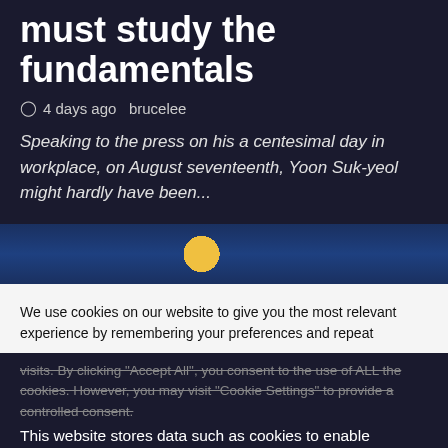must study the fundamentals
4 days ago  brucelee
Speaking to the press on his a centesimal day in workplace, on August seventeenth, Yoon Suk-yeol might hardly have been...
[Figure (photo): Partial image strip showing a yellow circular object against a blue background with another figure partially visible on the right]
We use cookies on our website to give you the most relevant experience by remembering your preferences and repeat visits. By clicking "Accept All", you consent to the use of ALL the cookies. However, you may visit "Cookie Settings" to provide a controlled consent.
This website stores data such as cookies to enable necessary site functionality, including analytics, targeting, and personalization. By remaining on this website you indicate your consent Cookie Policy